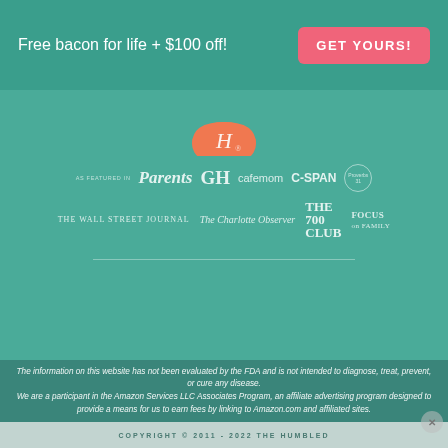Free bacon for life + $100 off!
GET YOURS!
[Figure (logo): Humbled Homemaker script logo in orange half-circle]
[Figure (logo): Media logos: As Featured In - Parents, GH, cafemom, C-SPAN, Proverbs31 Ministries, The Wall Street Journal, The Charlotte Observer, The 700 Club, Focus on the Family]
The information on this website has not been evaluated by the FDA and is not intended to diagnose, treat, prevent, or cure any disease. We are a participant in the Amazon Services LLC Associates Program, an affiliate advertising program designed to provide a means for us to earn fees by linking to Amazon.com and affiliated sites.
COPYRIGHT © 2011 - 2022 THE HUMBLED